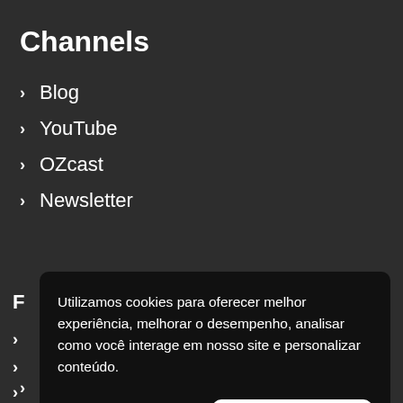Channels
Blog
YouTube
OZcast
Newsletter
Utilizamos cookies para oferecer melhor experiência, melhorar o desempenho, analisar como você interage em nosso site e personalizar conteúdo.
Recusar Cookies
Aceitar Cookies
Loki